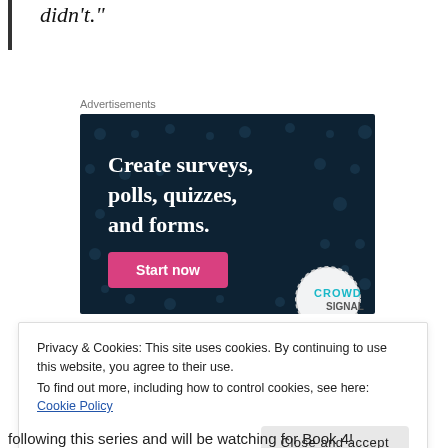didn't."
Advertisements
[Figure (screenshot): Advertisement banner for Crowdsignal: dark navy background with white bold text reading 'Create surveys, polls, quizzes, and forms.' with a pink 'Start now' button and Crowdsignal logo in bottom right]
Privacy & Cookies: This site uses cookies. By continuing to use this website, you agree to their use.
To find out more, including how to control cookies, see here: Cookie Policy
following this series and will be watching for Book 4!